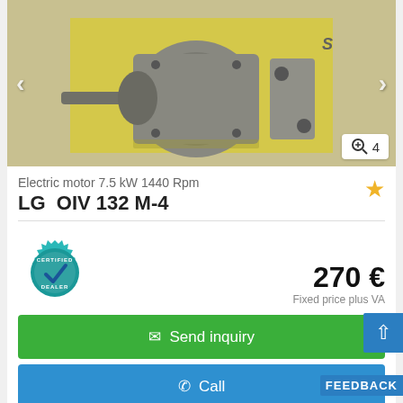[Figure (photo): Photo of an electric motor (LG OIV 132 M-4, 7.5 kW 1440 Rpm) on a yellow background, shown from the side with shaft and mounting flange visible. Navigation arrows on left and right. Zoom badge showing '4' in bottom right corner.]
Electric motor 7.5 kW 1440 Rpm
LG  OIV 132 M-4
[Figure (logo): Certified Dealer badge — teal gear shape with checkmark and text 'CERTIFIED DEALER']
270 €
Fixed price plus VA
✉ Send inquiry
✆ Call
FEEDBACK